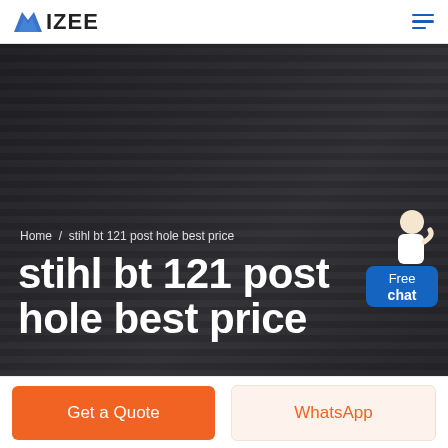IZEE
[Figure (photo): Dark hero banner with striped background (person wearing striped shirt) and a customer service chat widget in upper-right corner]
Home / stihl bt 121 post hole best price
stihl bt 121 post hole best price
Free chat
Get a Quote
WhatsApp